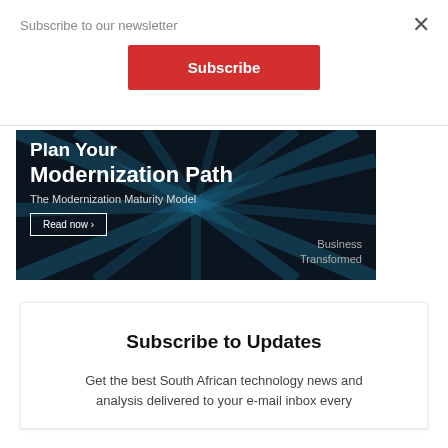Subscribe to our newsletter
×
Subscribe
[Figure (illustration): Dark background advertisement banner with blue light ray effects. Text reads: 'Plan Your Modernization Path', 'The Modernization Maturity Model', 'Read now ›', 'Business Transformed']
Subscribe to Updates
Get the best South African technology news and analysis delivered to your e-mail inbox every